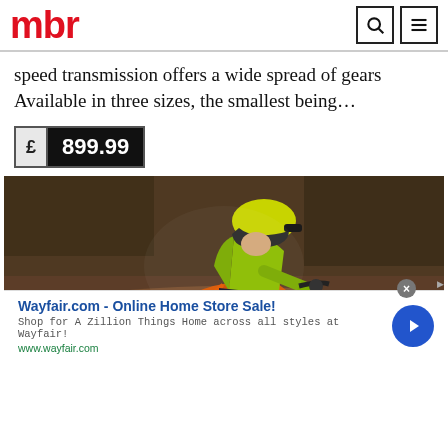mbr
speed transmission offers a wide spread of gears Available in three sizes, the smallest being…
£ 899.99
[Figure (photo): Mountain biker in a yellow-green jacket and helmet riding an orange mountain bike on a dirt trail]
Wayfair.com - Online Home Store Sale! Shop for A Zillion Things Home across all styles at Wayfair! www.wayfair.com